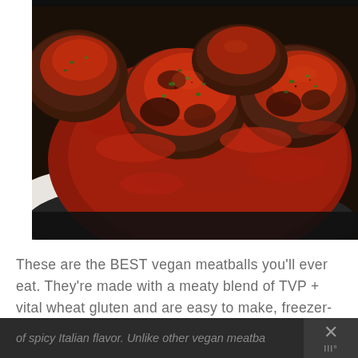[Figure (photo): Close-up photo of vegan meatballs in red tomato sauce with herbs, served in a black cast iron skillet on a white marble surface]
These are the BEST vegan meatballs you'll ever eat. They're made with a meaty blend of TVP + vital wheat gluten and are easy to make, freezer-friendly, and FULL of spicy Italian flavor. Unlike other vegan meatba...